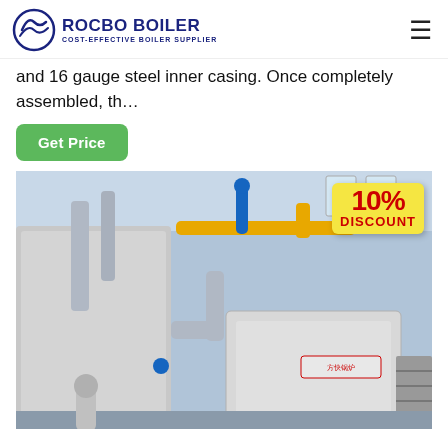ROCBO BOILER — COST-EFFECTIVE BOILER SUPPLIER
and 16 gauge steel inner casing. Once completely assembled, th…
Get Price
[Figure (photo): Industrial boiler equipment installed in a large factory facility. Shows large insulated boiler units with silver cladding, interconnected piping (yellow and silver), structural platforms and stairs. A '10% DISCOUNT' badge is overlaid in the top-right corner of the image.]